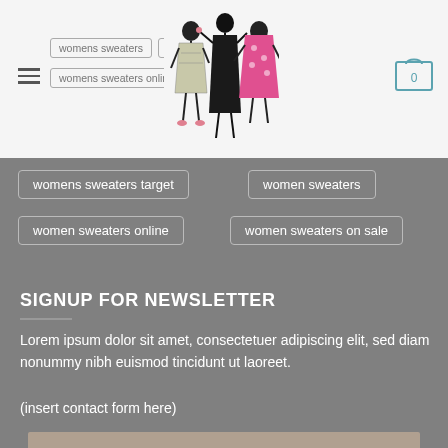womens sweaters target | women sweaters | women sweaters online | women sweaters on sale
[Figure (illustration): Fashion illustration logo showing three stylized women in dresses]
[Figure (illustration): Shopping cart icon with number 0]
womens sweaters target
women sweaters
women sweaters online
women sweaters on sale
SIGNUP FOR NEWSLETTER
Lorem ipsum dolor sit amet, consectetuer adipiscing elit, sed diam nonummy nibh euismod tincidunt ut laoreet.
(insert contact form here)